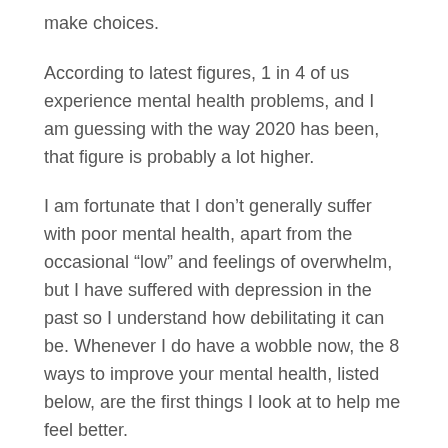make choices.
According to latest figures, 1 in 4 of us experience mental health problems, and I am guessing with the way 2020 has been, that figure is probably a lot higher.
I am fortunate that I don’t generally suffer with poor mental health, apart from the occasional “low” and feelings of overwhelm, but I have suffered with depression in the past so I understand how debilitating it can be. Whenever I do have a wobble now, the 8 ways to improve your mental health, listed below, are the first things I look at to help me feel better.
Our brains are neurologically wired to look for